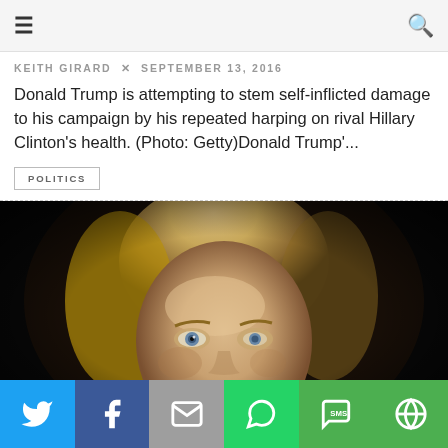≡  🔍
KEITH GIRARD  ✕  SEPTEMBER 13, 2016
Donald Trump is attempting to stem self-inflicted damage to his campaign by his repeated harping on rival Hillary Clinton's health. (Photo: Getty)Donald Trump'...
POLITICS
[Figure (photo): Close-up photograph of Hillary Clinton against a dark background, showing her face and blonde hair, looking upward.]